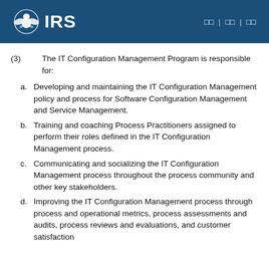IRS
(3) The IT Configuration Management Program is responsible for:
a. Developing and maintaining the IT Configuration Management policy and process for Software Configuration Management and Service Management.
b. Training and coaching Process Practitioners assigned to perform their roles defined in the IT Configuration Management process.
c. Communicating and socializing the IT Configuration Management process throughout the process community and other key stakeholders.
d. Improving the IT Configuration Management process through process and operational metrics, process assessments and audits, process reviews and evaluations, and customer satisfaction